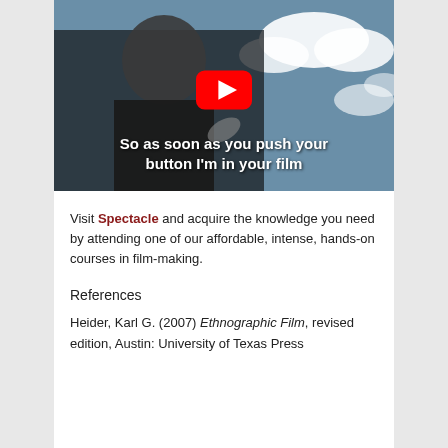[Figure (screenshot): YouTube video thumbnail showing an elderly man gesturing toward the camera against a cloudy sky background. A red YouTube play button is overlaid in the center. Text overlay reads: 'So as soon as you push your button I'm in your film']
Visit Spectacle and acquire the knowledge you need by attending one of our affordable, intense, hands-on courses in film-making.
References
Heider, Karl G. (2007) Ethnographic Film, revised edition, Austin: University of Texas Press